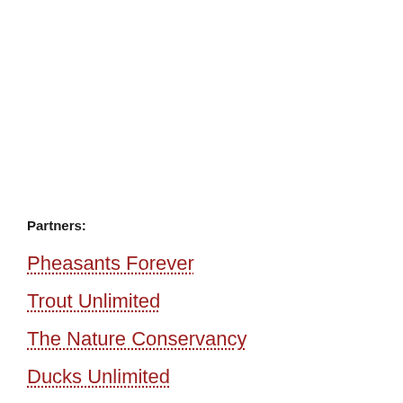Partners:
Pheasants Forever
Trout Unlimited
The Nature Conservancy
Ducks Unlimited